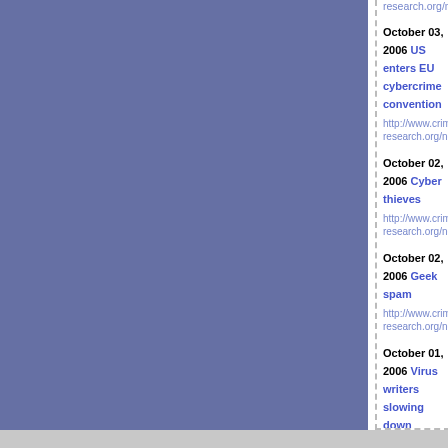research.org/news/03.10.2006/2270/...
October 03, 2006 US enters EU cybercrime convention
http://www.crime-research.org/news/03.10.2006/2273/
October 02, 2006 Cyber thieves
http://www.crime-research.org/news/02.10.2006/2272/
October 02, 2006 Geek spam
http://www.crime-research.org/news/02.10.2006/2271/
October 01, 2006 Virus writers slowing down
http://www.crime-research.org/news/01.10.2006/2270/